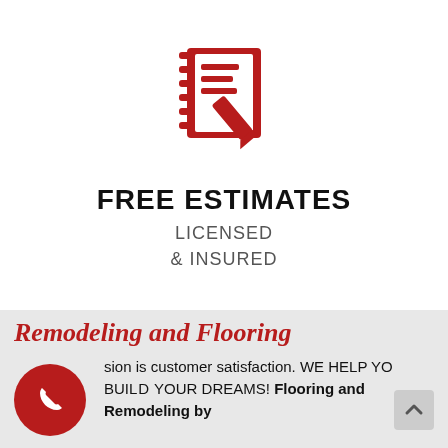[Figure (logo): Dark red icon of a notepad with horizontal lines and a checkmark/pen overlay, representing free estimates]
FREE ESTIMATES
LICENSED
& INSURED
Remodeling and Flooring
[Figure (illustration): Red circle with white phone handset icon]
...sion is customer satisfaction. WE HELP YO... BUIL... YOUR DREAMS! Flooring and Remodeling by
[Figure (illustration): Grey scroll-to-top button with upward chevron]